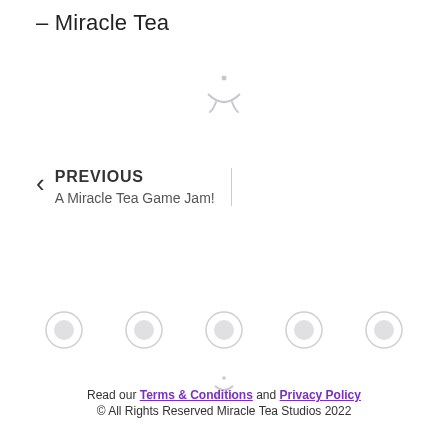– Miracle Tea
[Figure (logo): Miracle Tea Studios logo icon — a stylized eye/moon shape in light gray]
PREVIOUS
A Miracle Tea Game Jam!
[Figure (infographic): Row of social media icon circles in light gray]
[Figure (logo): Small Miracle Tea Studios logo mark in light gray]
Read our Terms & Conditions and Privacy Policy
© All Rights Reserved Miracle Tea Studios 2022